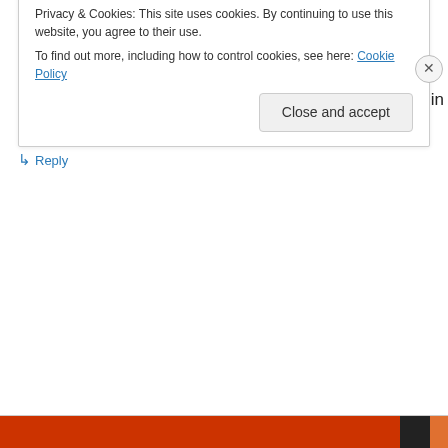Nicki on April 26, 2013 at 1:15 PM
I'm interested in seeing how much difference there is in muscle recovery.
↳ Reply
Privacy & Cookies: This site uses cookies. By continuing to use this website, you agree to their use.
To find out more, including how to control cookies, see here: Cookie Policy
Close and accept